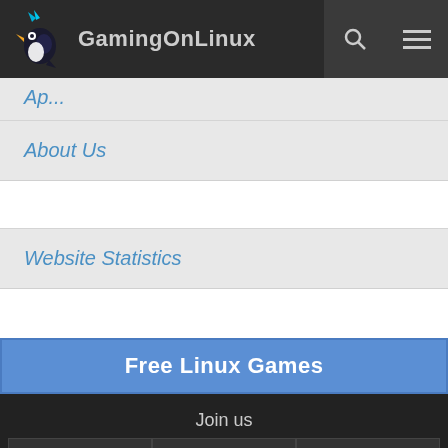GamingOnLinux
App...
About Us
Website Statistics
Free Linux Games
Join us
[Figure (infographic): Social media icon grid showing Twitter, Telegram, Discord, Matrix, Steam, Twitch, YouTube, Facebook, Mastodon icons in a 3x3 dark grid layout]